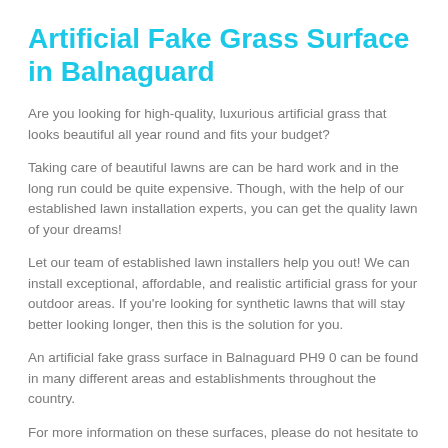Artificial Fake Grass Surface in Balnaguard
Are you looking for high-quality, luxurious artificial grass that looks beautiful all year round and fits your budget?
Taking care of beautiful lawns are can be hard work and in the long run could be quite expensive. Though, with the help of our established lawn installation experts, you can get the quality lawn of your dreams!
Let our team of established lawn installers help you out! We can install exceptional, affordable, and realistic artificial grass for your outdoor areas. If you're looking for synthetic lawns that will stay better looking longer, then this is the solution for you.
An artificial fake grass surface in Balnaguard PH9 0 can be found in many different areas and establishments throughout the country.
For more information on these surfaces, please do not hesitate to get in touch.